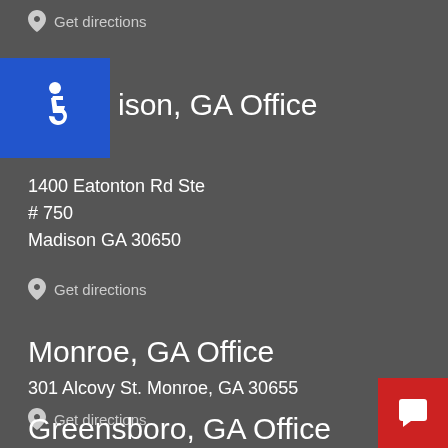Get directions
[Figure (illustration): Blue accessibility (wheelchair) icon badge]
ison, GA Office
1400 Eatonton Rd Ste # 750
Madison GA 30650
Get directions
Monroe, GA Office
301 Alcovy St. Monroe, GA 30655
Get directions
Greensboro, GA Office
[Figure (illustration): Red chat/message button in bottom right corner]